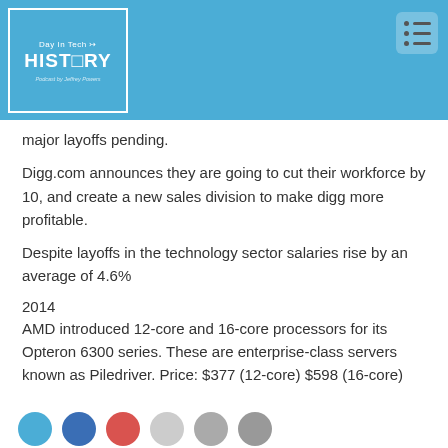[Figure (logo): Day in Tech History podcast logo — white-bordered box on blue background with text 'Day in Tech HISTORY' and 'Podcast by Jeffrey Powers']
major layoffs pending.
Digg.com announces they are going to cut their workforce by 10, and create a new sales division to make digg more profitable.
Despite layoffs in the technology sector salaries rise by an average of 4.6%
2014
AMD introduced 12-core and 16-core processors for its Opteron 6300 series. These are enterprise-class servers known as Piledriver. Price: $377 (12-core) $598 (16-core)